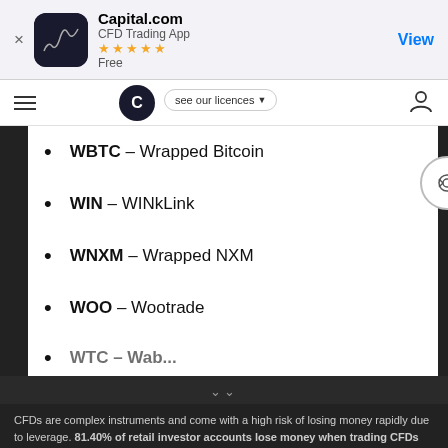[Figure (screenshot): App Store banner for Capital.com CFD Trading App with 5-star rating, Free, and View button]
[Figure (screenshot): Navigation bar with hamburger menu, Capital.com logo, see our licences dropdown, and user icon]
WBTC – Wrapped Bitcoin
WIN – WINkLink
WNXM – Wrapped NXM
WOO – Wootrade
CFDs are complex instruments and come with a high risk of losing money rapidly due to leverage. 81.40% of retail investor accounts lose money when trading CFDs with this provider. You should consider whether you understand how CFDs work and whether you can afford to take the high risk of losing your money.
By using the Capital.com website you agree to the use of cookies.